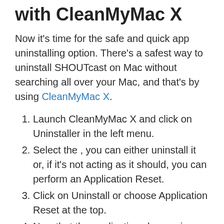with CleanMyMac X
Now it's time for the safe and quick app uninstalling option. There's a safest way to uninstall SHOUTcast on Mac without searching all over your Mac, and that's by using CleanMyMac X.
Launch CleanMyMac X and click on Uninstaller in the left menu.
Select the , you can either uninstall it or, if it's not acting as it should, you can perform an Application Reset.
Click on Uninstall or choose Application Reset at the top.
Now that the application cleanup is complete, you can view a log of the removed items, or go back to your app